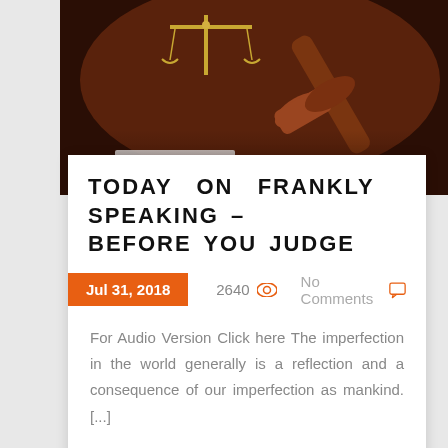[Figure (photo): Photo of a wooden judge's gavel and scales of justice on a dark background, with books visible.]
TODAY ON FRANKLY SPEAKING – BEFORE YOU JUDGE
Jul 31, 2018   2640   No Comments
For Audio Version Click here The imperfection in the world generally is a reflection and a consequence of our imperfection as mankind. [...]
Read More